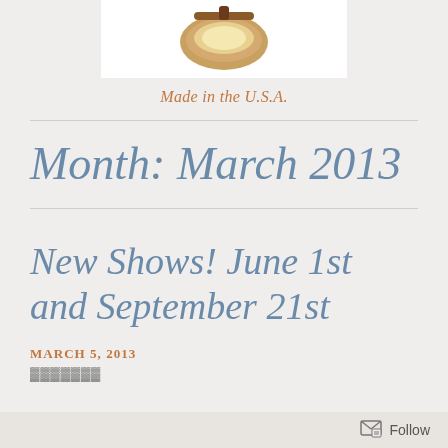[Figure (logo): Logo image partially visible at top, brown leather-look graphic on white background]
Made in the U.S.A.
Month: March 2013
New Shows! June 1st and September 21st
MARCH 5, 2013
Follow